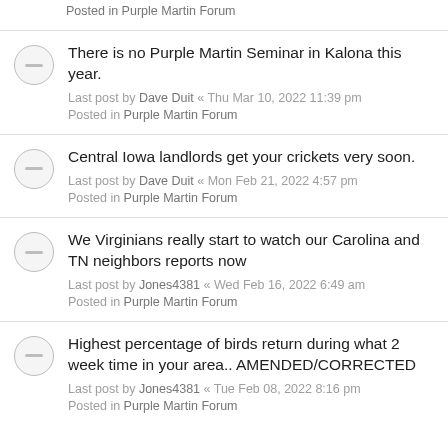Posted in Purple Martin Forum
There is no Purple Martin Seminar in Kalona this year.
Last post by Dave Duit « Thu Mar 10, 2022 11:39 pm
Posted in Purple Martin Forum
Central Iowa landlords get your crickets very soon.
Last post by Dave Duit « Mon Feb 21, 2022 4:57 pm
Posted in Purple Martin Forum
We Virginians really start to watch our Carolina and TN neighbors reports now
Last post by Jones4381 « Wed Feb 16, 2022 6:49 am
Posted in Purple Martin Forum
Highest percentage of birds return during what 2 week time in your area.. AMENDED/CORRECTED
Last post by Jones4381 « Tue Feb 08, 2022 8:16 pm
Posted in Purple Martin Forum